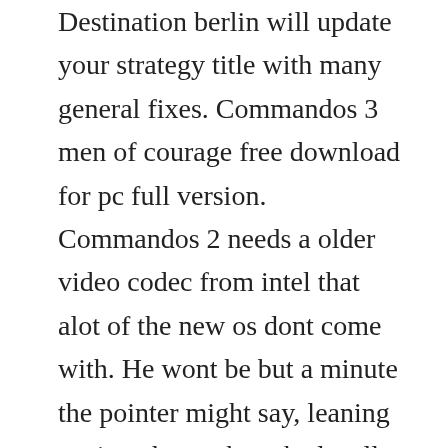Destination berlin will update your strategy title with many general fixes. Commandos 3 men of courage free download for pc full version. Commandos 2 needs a older video codec from intel that alot of the new os dont come with. He wont be but a minute the pointer might say, leaning against the pockmarked wall of some bavarian. Showcase commandos 2 hd remaster steam card exchange. All you need to fix and modernize all commandos games in one. Widescreen patch download for convenience ive created executables for 1024x600, 1280x720,